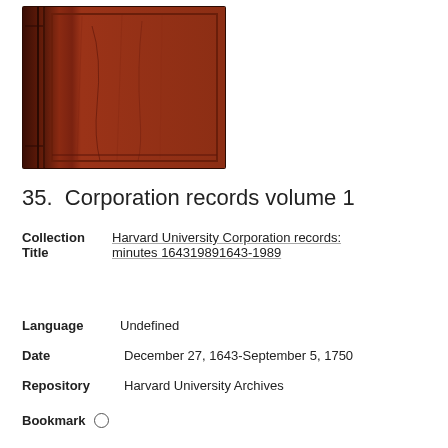[Figure (photo): A reddish-brown leather-bound book cover, aged, with faint rectangular border embossing and spine visible on the left side.]
35.  Corporation records volume 1
Collection   Harvard University Corporation records:
Title   minutes 164319891643-1989
Language   Undefined
Date   December 27, 1643-September 5, 1750
Repository   Harvard University Archives
Bookmark   ○